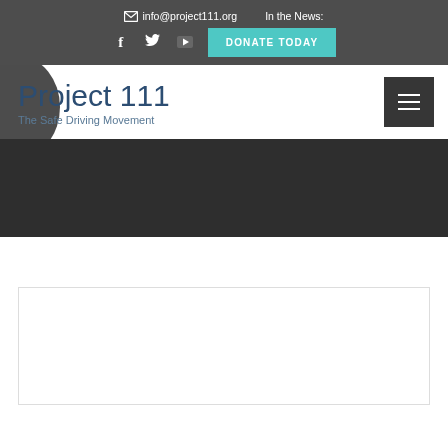info@project111.org   In the News:
[Figure (screenshot): Social media icons (Facebook, Twitter, YouTube) and a teal DONATE TODAY button]
Project 111
The Safe Driving Movement
[Figure (other): Dark banner/hero area and white content box placeholder]